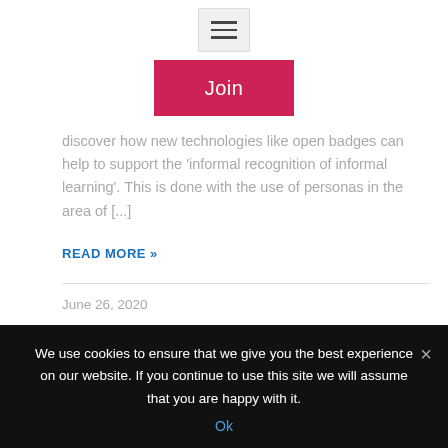[Figure (other): Hamburger menu icon button with three horizontal lines on a light gray background]
[Figure (other): Pink/red 'Join' button]
discover how new technologies like open badges can help to support the 'informal recognition of informal learning'.  This is done with the use of personas in the area of [...]
READ MORE »
June 26, 2020
Badges are about connecting people to
We use cookies to ensure that we give you the best experience on our website. If you continue to use this site we will assume that you are happy with it.
Ok